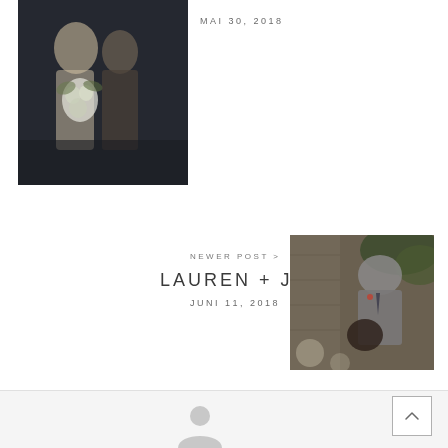[Figure (photo): Couple embracing, woman holding bouquet of white flowers, dark background, top-left of page]
MAI 30, 2018
NEWER POST >
LAUREN + JOSH
JUNI 11, 2018
[Figure (photo): Couple in stone building, man in grey suit bowing toward woman, muted tones]
[Figure (illustration): Greyed-out user avatar icon in footer section]